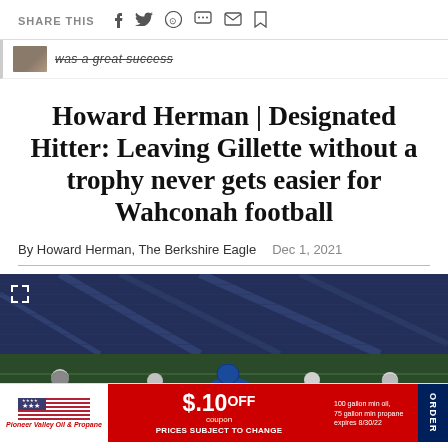SHARE THIS
was a great success
Howard Herman | Designated Hitter: Leaving Gillette without a trophy never gets easier for Wahconah football
By Howard Herman, The Berkshire Eagle   Dec 1, 2021
[Figure (photo): Football players on field at stadium, with advertisement banner overlay reading $.10 OFF coupon, Pioneer Valley Oil & Propane, PRICES SUBJECT TO CHANGE]